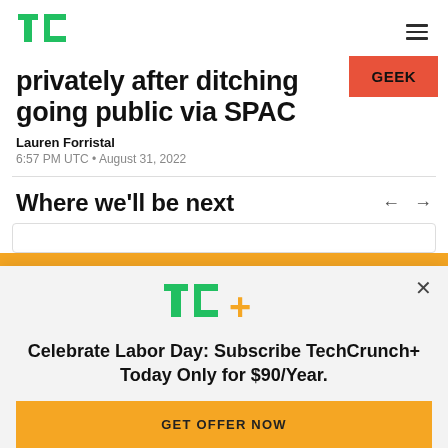TechCrunch
privately after ditching going public via SPAC
Lauren Forristal
6:57 PM UTC • August 31, 2022
Where we'll be next
Celebrate Labor Day: Subscribe TechCrunch+ Today Only for $90/Year.
GET OFFER NOW